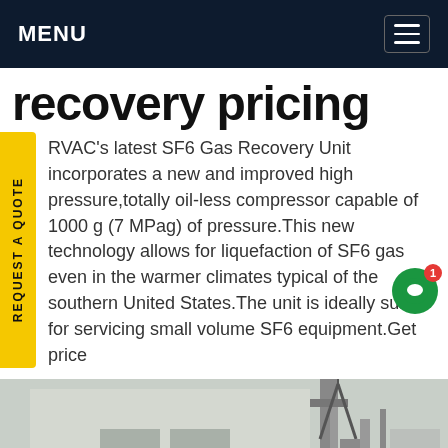MENU
recovery pricing
RVAC's latest SF6 Gas Recovery Unit incorporates a new and improved high pressure,totally oil-less compressor capable of 1000 g (7 MPag) of pressure.This new technology allows for liquefaction of SF6 gas even in the warmer climates typical of the southern United States.The unit is ideally suited for servicing small volume SF6 equipment.Get price
[Figure (photo): Industrial building exterior with pipes and antenna structure, outdoor industrial equipment photo]